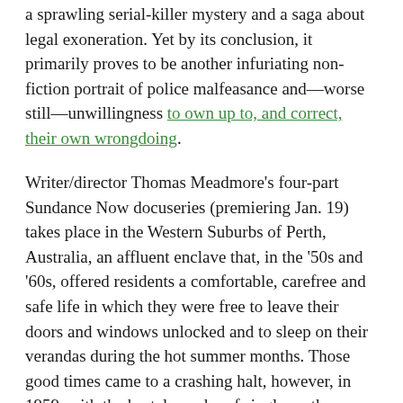a sprawling serial-killer mystery and a saga about legal exoneration. Yet by its conclusion, it primarily proves to be another infuriating non-fiction portrait of police malfeasance and—worse still—unwillingness to own up to, and correct, their own wrongdoing.
Writer/director Thomas Meadmore's four-part Sundance Now docuseries (premiering Jan. 19) takes place in the Western Suburbs of Perth, Australia, an affluent enclave that, in the '50s and '60s, offered residents a comfortable, carefree and safe life in which they were free to leave their doors and windows unlocked and to sleep on their verandas during the hot summer months. Those good times came to a crashing halt, however, in 1959, with the brutal murder of single mother Pnina Berkman in her bedroom. When her boyfriend Fotis Fountas promptly fled the country for his native Greece, authorities assumed he was the culprit. Nine months later, though, another similar slaying took place in Perth: that of 22-year-old chocolate empire heiress Jillian Brewer, who was